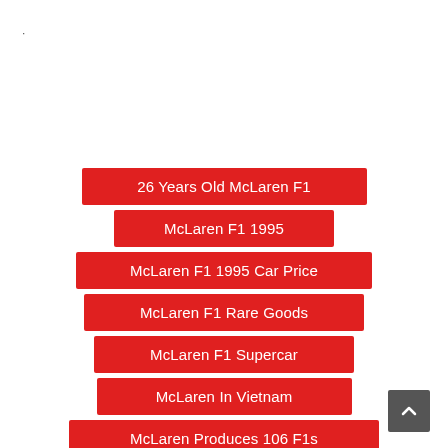26 Years Old McLaren F1
McLaren F1 1995
McLaren F1 1995 Car Price
McLaren F1 Rare Goods
McLaren F1 Supercar
McLaren In Vietnam
McLaren Produces 106 F1s
(partial item)